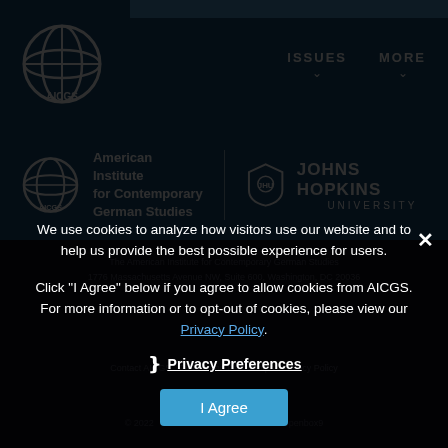[Figure (logo): AICGS globe logo in white on dark blue navigation bar, top left]
ISSUES ∨   MORE ∨
[Figure (logo): AICGS full logo with globe icon and text 'American Institute for Contemporary German Studies' alongside Johns Hopkins University shield logo and text]
We use cookies to analyze how visitors use our website and to help us provide the best possible experience for users.
Click "I Agree" below if you agree to allow cookies from AICGS. For more information or to opt-out of cookies, please view our Privacy Policy.
❯ Privacy Preferences
I Agree